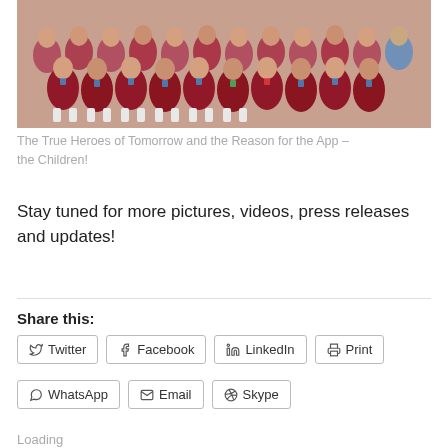[Figure (photo): Large group of school children in pink/red uniforms with lanyards, sitting and standing together for a group photo]
The True Heroes of Tomorrow and the Reason for the App – the Children!
Stay tuned for more pictures, videos, press releases and updates!
Share this:
Twitter Facebook LinkedIn Print WhatsApp Email Skype
Loading